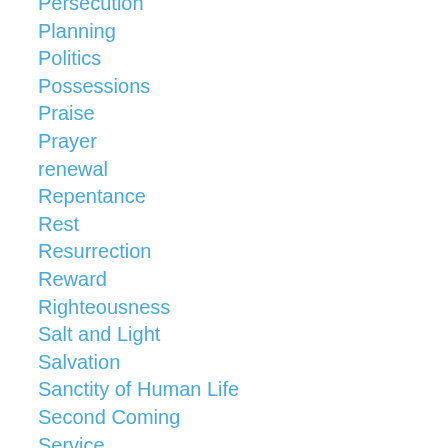Persecution
Planning
Politics
Possessions
Praise
Prayer
renewal
Repentance
Rest
Resurrection
Reward
Righteousness
Salt and Light
Salvation
Sanctity of Human Life
Second Coming
Service
Sin
Spiritual Warfare
Stewardship